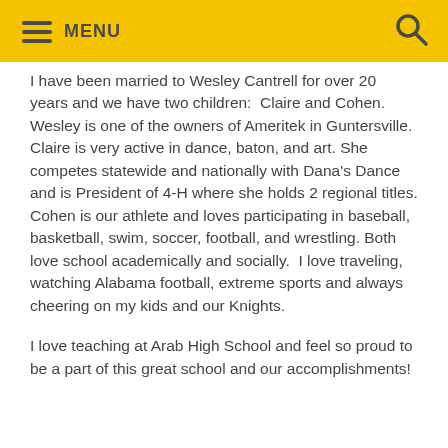MENU
I have been married to Wesley Cantrell for over 20 years and we have two children:  Claire and Cohen. Wesley is one of the owners of Ameritek in Guntersville. Claire is very active in dance, baton, and art. She competes statewide and nationally with Dana's Dance and is President of 4-H where she holds 2 regional titles. Cohen is our athlete and loves participating in baseball, basketball, swim, soccer, football, and wrestling. Both love school academically and socially.  I love traveling, watching Alabama football, extreme sports and always cheering on my kids and our Knights.
I love teaching at Arab High School and feel so proud to be a part of this great school and our accomplishments!